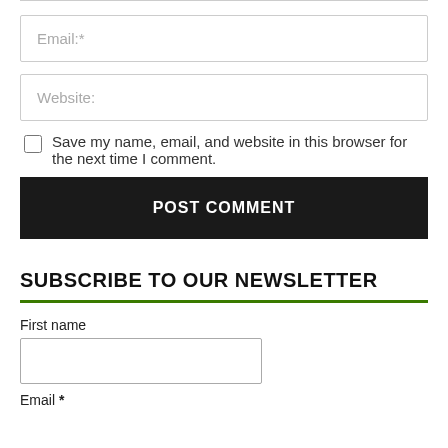Email:*
Website:
Save my name, email, and website in this browser for the next time I comment.
POST COMMENT
SUBSCRIBE TO OUR NEWSLETTER
First name
Email *